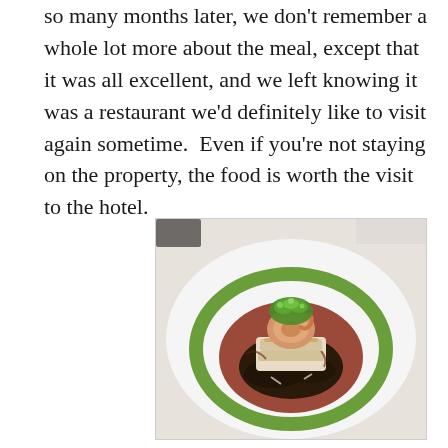so many months later, we don't remember a whole lot more about the meal, except that it was all excellent, and we left knowing it was a restaurant we'd definitely like to visit again sometime.  Even if you're not staying on the property, the food is worth the visit to the hotel.
[Figure (photo): A fine dining plate with a piece of seared fish topped with a coiled shrimp and fresh herb garnish, served over dark vegetables on a white plate with green sauce ring and red-brown sauce pool.]